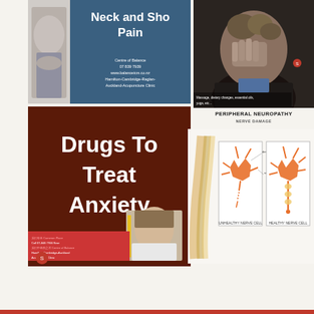[Figure (illustration): Medical promotional image for Neck and Shoulder Pain treatment. Shows a woman holding her shoulder/neck area on the left, and a blue panel with white text 'Neck and Shoulder Pain'. Small text at bottom of blue panel reads: Centre of Balance, 07 839 7939, www.balancetcm.co.nz, Hamilton-Cambridge-Raglan-Auckland-Acupuncture Clinic.]
[Figure (photo): Photo of a distressed man holding his head in his hands, appearing to be in pain. Small text overlay at bottom left reads: Massage, dietary changes, essential oils, yoga, etc...]
[Figure (illustration): Medical promotional image for 'Drugs To Treat Anxiety'. Dark brown/maroon background with large white bold text 'Drugs To Treat Anxiety'. Bottom section has red band with clinic details in small text. Shows a photo of a young man looking downward. Logo at bottom left.]
PERIPHERAL NEUROPATHY
NERVE DAMAGE
[Figure (illustration): Medical diagram of peripheral neuropathy showing nerve damage. Left side shows strand of nerve fibers. Right side shows two neuron diagrams labeled 'UNHEALTHY NERVE CELL' and 'HEALTHY NERVE CELL' with labeled anatomical parts.]